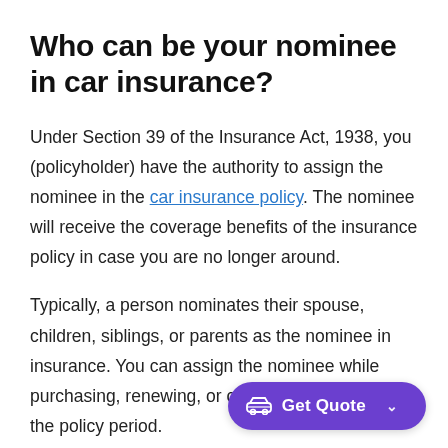Who can be your nominee in car insurance?
Under Section 39 of the Insurance Act, 1938, you (policyholder) have the authority to assign the nominee in the car insurance policy. The nominee will receive the coverage benefits of the insurance policy in case you are no longer around.
Typically, a person nominates their spouse, children, siblings, or parents as the nominee in insurance. You can assign the nominee while purchasing, renewing, or changing details during the policy period.